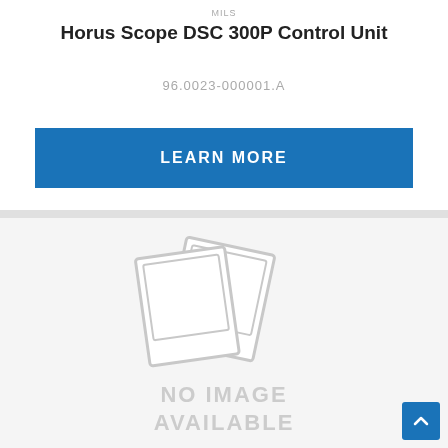MilS
Horus Scope DSC 300P Control Unit
96.0023-000001.A
LEARN MORE
[Figure (other): No image available placeholder with two overlapping polaroid-style photo frames in gray, with text NO IMAGE AVAILABLE below]